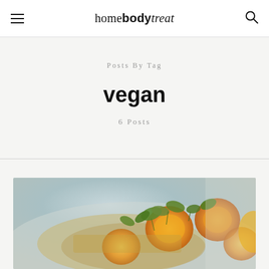home body treat
Posts By Tag
vegan
6 Posts
[Figure (photo): Close-up photograph of a colorful food dish with orange slices or segments, microgreens/herbs on top, and a grainy textured garnish on a light background]